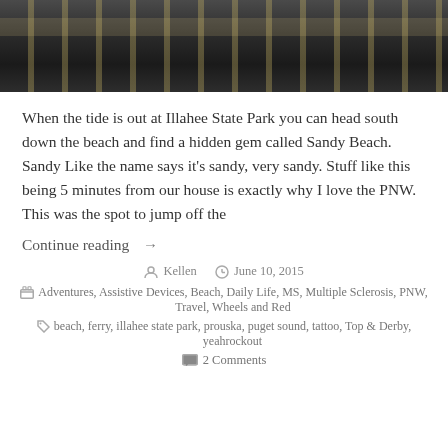[Figure (photo): Top portion of a photo showing what appears to be wooden stairs or a bridge/dock structure with dark planks and diagonal yellow/white striped markings, shot from above at an angle.]
When the tide is out at Illahee State Park you can head south down the beach and find a hidden gem called Sandy Beach. Sandy Like the name says it's sandy, very sandy. Stuff like this being 5 minutes from our house is exactly why I love the PNW. This was the spot to jump off the
Continue reading →
Kellen   June 10, 2015
Adventures, Assistive Devices, Beach, Daily Life, MS, Multiple Sclerosis, PNW, Travel, Wheels and Red
beach, ferry, illahee state park, prouska, puget sound, tattoo, Top & Derby, yeahrockout
2 Comments